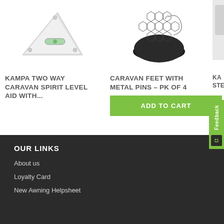[Figure (photo): Kampa Two Way Caravan Spirit Level Aid product photo - white triangular spirit level device]
KAMPA TWO WAY CARAVAN SPIRIT LEVEL AID WITH...
[Figure (photo): Caravan Feet with Metal Pins product photo - black rubber foot with wire pin]
CARAVAN FEET WITH METAL PINS – PK OF 4
ADD TO CART
[Figure (photo): Partial product image cropped at right edge]
KA STE
OUR LINKS
About us
Loyalty Card
New Awning Helpsheet